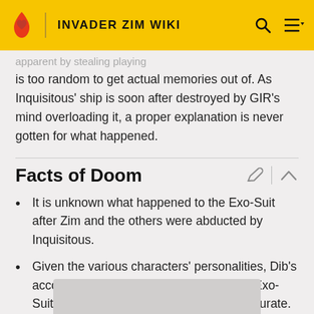INVADER ZIM WIKI
is too random to get actual memories out of. As Inquisitous' ship is soon after destroyed by GIR's mind overloading it, a proper explanation is never gotten for what happened.
Facts of Doom
It is unknown what happened to the Exo-Suit after Zim and the others were abducted by Inquisitous.
Given the various characters' personalities, Dib's account of what happened, and thus the Exo-Suit's appearance, is most likely to be accurate.
[Figure (photo): Partial image visible at bottom of page, gray rectangle placeholder]